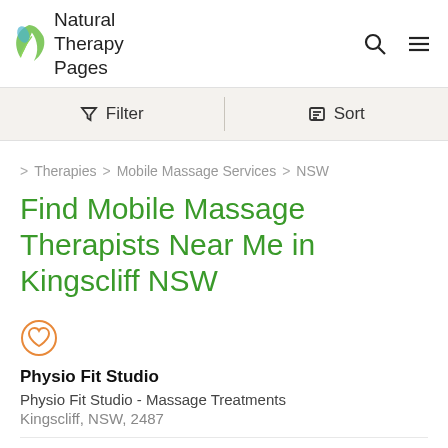Natural Therapy Pages
Filter   Sort
> Therapies > Mobile Massage Services > NSW
Find Mobile Mobile Massage Therapists Near Me in Kingscliff NSW
Physio Fit Studio
Physio Fit Studio - Massage Treatments
Kingscliff, NSW, 2487
Member since 2012
Treat yourself to a relaxing, rejuvenating or re-